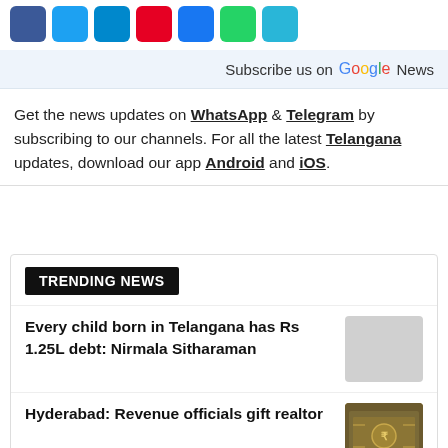[Figure (other): Row of social media share buttons: Facebook (blue), Twitter (light blue), Telegram (teal), Pinterest (red), another blue, WhatsApp (green), and another blue icon]
Subscribe us on Google News
Get the news updates on WhatsApp & Telegram by subscribing to our channels. For all the latest Telangana updates, download our app Android and iOS.
TRENDING NEWS
Every child born in Telangana has Rs 1.25L debt: Nirmala Sitharaman
Hyderabad: Revenue officials gift realtor